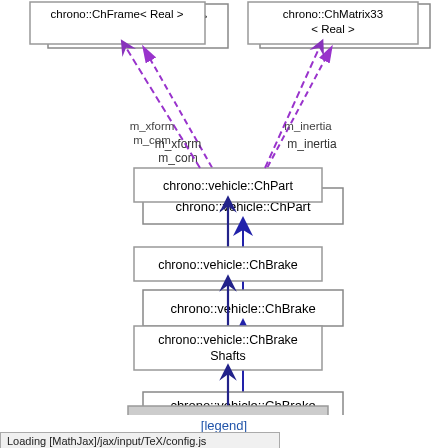[Figure (organizational-chart): UML class inheritance diagram showing chrono::vehicle::hmmwv::HMMWV_BrakeShafts inheriting from chrono::vehicle::ChBrakeShafts, which inherits from chrono::vehicle::ChBrake, which inherits from chrono::vehicle::ChPart. chrono::ChPart has dashed composition arrows pointing to chrono::ChFrame<Real> (labeled m_xform, m_com) and chrono::ChMatrix33<Real> (labeled m_inertia).]
[legend]
Loading [MathJax]/jax/input/TeX/config.js